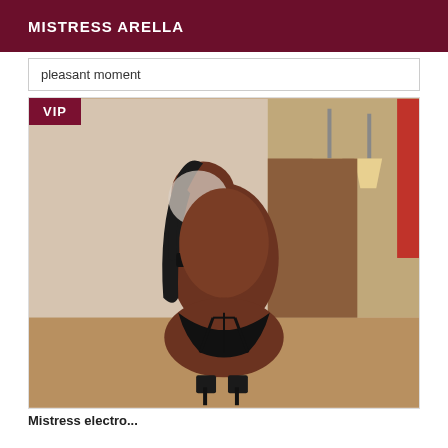MISTRESS ARELLA
pleasant moment
[Figure (photo): A woman posing in black lingerie and heels in an interior setting, face obscured/blurred, viewed from behind. VIP badge overlay in upper left corner.]
Mistress electro...